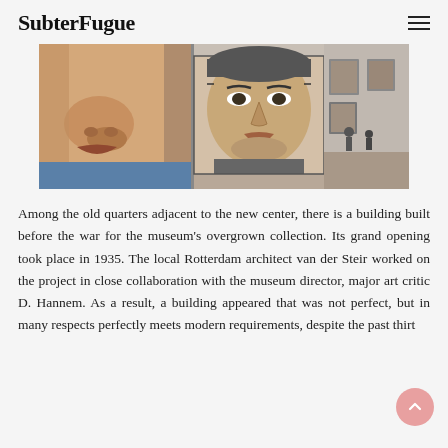SubterFugue
[Figure (photo): Art gallery interior showing large portrait paintings on display — a closeup of a painted face on the left and a detailed portrait of a man's face in the center, with framed artworks visible along the gallery walls in the background.]
Among the old quarters adjacent to the new center, there is a building built before the war for the museum's overgrown collection. Its grand opening took place in 1935. The local Rotterdam architect van der Steir worked on the project in close collaboration with the museum director, major art critic D. Hannem. As a result, a building appeared that was not perfect, but in many respects perfectly meets modern requirements, despite the past thirty…